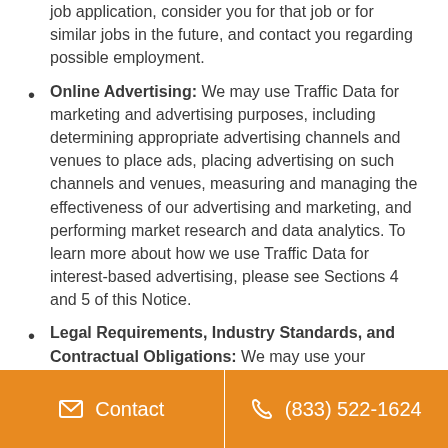job application, consider you for that job or for similar jobs in the future, and contact you regarding possible employment.
Online Advertising: We may use Traffic Data for marketing and advertising purposes, including determining appropriate advertising channels and venues to place ads, placing advertising on such channels and venues, measuring and managing the effectiveness of our advertising and marketing, and performing market research and data analytics. To learn more about how we use Traffic Data for interest-based advertising, please see Sections 4 and 5 of this Notice.
Legal Requirements, Industry Standards, and Contractual Obligations: We may use your Personal Information for complying with and enforcing applicable legal requirements, industry standards, and our contractual obligations.
Contact   (833) 522-1624